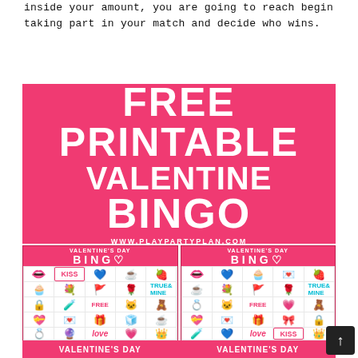inside your amount, you are going to reach begin taking part in your match and decide who wins.
[Figure (infographic): FREE PRINTABLE VALENTINE BINGO banner image in pink/red with white bold text, URL www.playpartyplan.com, and two Valentine's Day Bingo card previews with colorful emoji-style icons in a 5x5 grid including lips, kiss sign, hearts, flowers, cupcakes, arrows, cats, rings, crowns, and FREE center spaces.]